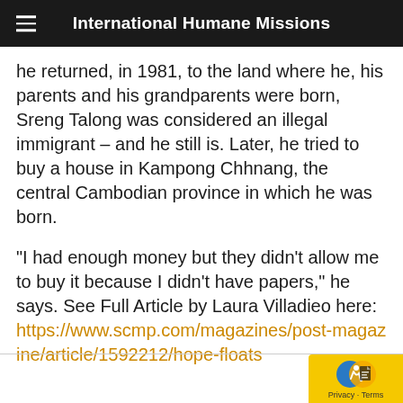International Humane Missions
he returned, in 1981, to the land where he, his parents and his grandparents were born, Sreng Talong was considered an illegal immigrant – and he still is. Later, he tried to buy a house in Kampong Chhnang, the central Cambodian province in which he was born.
“I had enough money but they didn’t allow me to buy it because I didn’t have papers,” he says. See Full Article by Laura Villadieo here: https://www.scmp.com/magazines/post-magazine/article/1592212/hope-floats